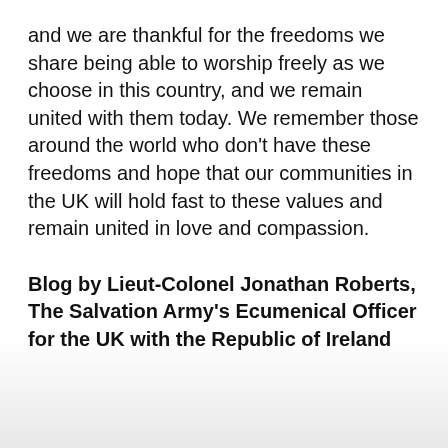and we are thankful for the freedoms we share being able to worship freely as we choose in this country, and we remain united with them today. We remember those around the world who don't have these freedoms and hope that our communities in the UK will hold fast to these values and remain united in love and compassion.
Blog by Lieut-Colonel Jonathan Roberts, The Salvation Army's Ecumenical Officer for the UK with the Republic of Ireland